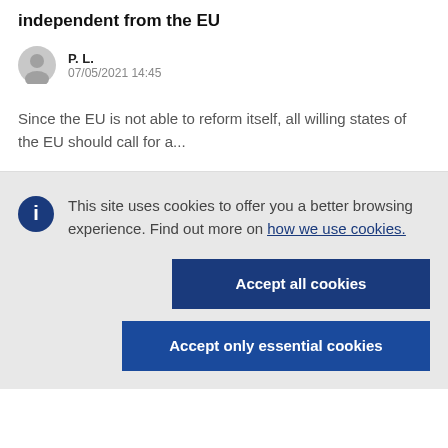independent from the EU
P. L.
07/05/2021 14:45
Since the EU is not able to reform itself, all willing states of the EU should call for a...
This site uses cookies to offer you a better browsing experience. Find out more on how we use cookies.
Accept all cookies
Accept only essential cookies